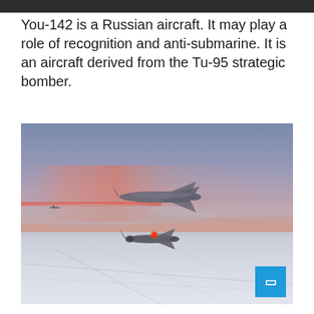You-142 is a Russian aircraft. It may play a role of recognition and anti-submarine. It is an aircraft derived from the Tu-95 strategic bomber.
[Figure (photo): Two military aircraft flying at high altitude over a cloud-covered landscape at dusk. A large Russian Tu-142 (You-142) aircraft is visible in the upper center, and a smaller fighter jet with a red light is in the lower center. A third aircraft is faintly visible on the left horizon. The sky shows pink and blue sunset colors.]